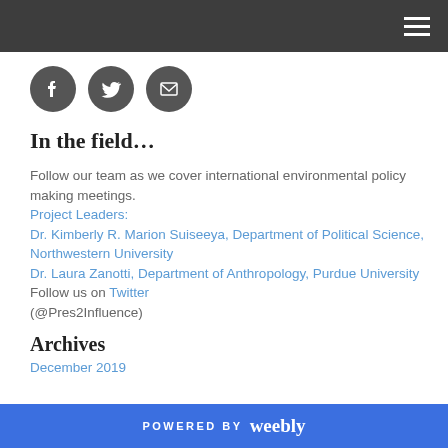[Figure (illustration): Three social media icons (Facebook, Twitter, Email) as dark grey circles with white symbols]
In the field…
Follow our team as we cover international environmental policy making meetings. Project Leaders: Dr. Kimberly R. Marion Suiseeya, Department of Political Science, Northwestern University Dr. Laura Zanotti, Department of Anthropology, Purdue University Follow us on Twitter (@Pres2Influence)
Archives
December 2019
POWERED BY weebly